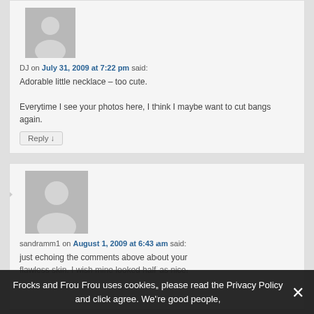[Figure (illustration): Grey avatar placeholder image for user DJ]
DJ on July 31, 2009 at 7:22 pm said:
Adorable little necklace – too cute.

Everytime I see your photos here, I think I maybe want to cut bangs again.
Reply ↓
[Figure (illustration): Grey avatar placeholder image for user sandramm1]
sandramm1 on August 1, 2009 at 6:43 am said:
just echoing the comments above about your flawless skin. I wish mine looked half as nice.
Frocks and Frou Frou uses cookies, please read the Privacy Policy and click agree. We're good people,